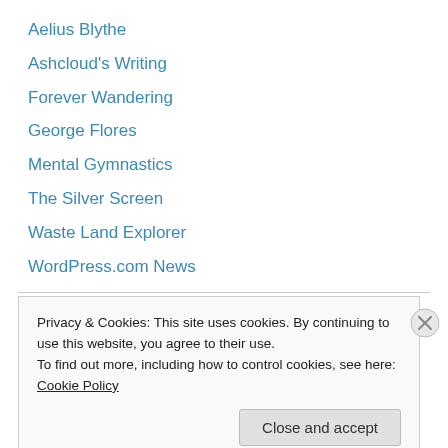Aelius Blythe
Ashcloud's Writing
Forever Wandering
George Flores
Mental Gymnastics
The Silver Screen
Waste Land Explorer
WordPress.com News
Meta
Register
Privacy & Cookies: This site uses cookies. By continuing to use this website, you agree to their use.
To find out more, including how to control cookies, see here: Cookie Policy
Close and accept